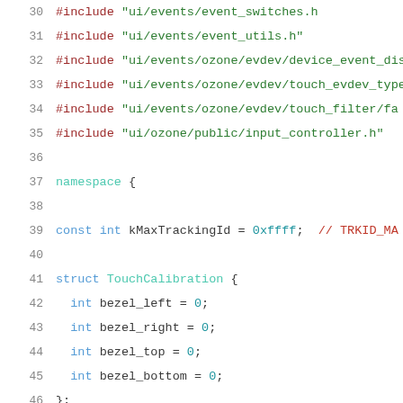[Figure (screenshot): Source code listing in C++ showing lines 30-51 with syntax highlighting. Lines include #include statements, namespace block, const declaration, struct TouchCalibration with bezel fields, and ScaleTilt function.]